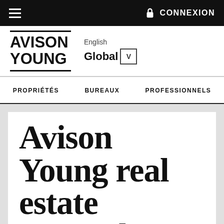≡  CONNEXION
[Figure (logo): Avison Young logo with double horizontal lines above and below the text]
English  Global V
PROPRIÉTÉS   BUREAUX   PROFESSIONNELS
Avison Young real estate research